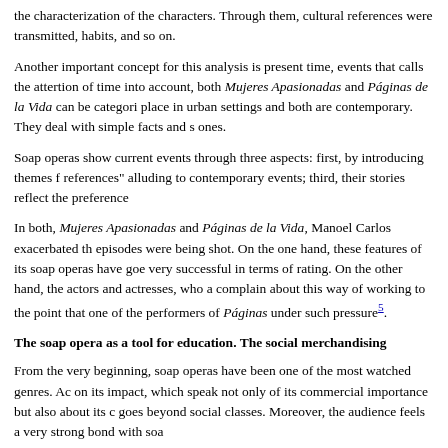the characterization of the characters. Through them, cultural references were transmitted, habits, and so on.
Another important concept for this analysis is present time, events that calls the attention of time into account, both Mujeres Apasionadas and Páginas de la Vida can be categorized place in urban settings and both are contemporary. They deal with simple facts and simple ones.
Soap operas show current events through three aspects: first, by introducing themes references" alluding to contemporary events; third, their stories reflect the preferences
In both, Mujeres Apasionadas and Páginas de la Vida, Manoel Carlos exacerbated the episodes were being shot. On the one hand, these features of its soap operas have gone very successful in terms of rating. On the other hand, the actors and actresses, who a complain about this way of working to the point that one of the performers of Páginas under such pressure5.
The soap opera as a tool for education. The social merchandising
From the very beginning, soap operas have been one of the most watched genres. According on its impact, which speak not only of its commercial importance but also about its goes beyond social classes. Moreover, the audience feels a very strong bond with soap
The audience can easily relate to the characters' miseries, perhaps that is the reason feeling they are doing something far away from their realities. Therefore, experts in healthy lifestyles in tears, betrayal and impossible love stories6.
Miguel Sabido, 'officially' started this process, and because of that he is considered a